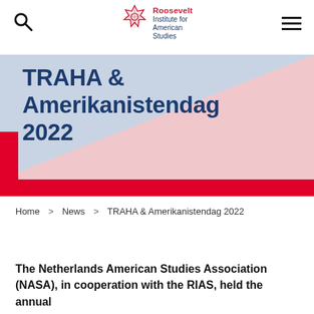Roosevelt Institute for American Studies
[Figure (logo): Roosevelt Institute for American Studies logo with red geometric flower icon and blue text]
TRAHA & Amerikanistendag 2022
Home > News > TRAHA & Amerikanistendag 2022
The Netherlands American Studies Association (NASA), in cooperation with the RIAS, held the annual